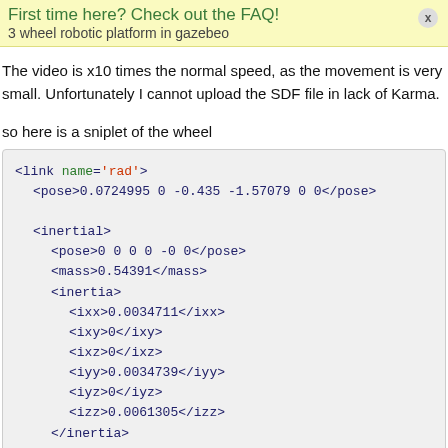First time here? Check out the FAQ!
3 wheel robotic platform in gazebeo
The video is x10 times the normal speed, as the movement is very small. Unfortunately I cannot upload the SDF file in lack of Karma.
so here is a sniplet of the wheel
<link name='rad'>
  <pose>0.0724995 0 -0.435 -1.57079 0 0</pose>

  <inertial>
    <pose>0 0 0 0 -0 0</pose>
    <mass>0.54391</mass>
    <inertia>
      <ixx>0.0034711</ixx>
      <ixy>0</ixy>
      <ixz>0</ixz>
      <iyy>0.0034739</iyy>
      <iyz>0</iyz>
      <izz>0.0061305</izz>
    </inertia>
  </inertial>